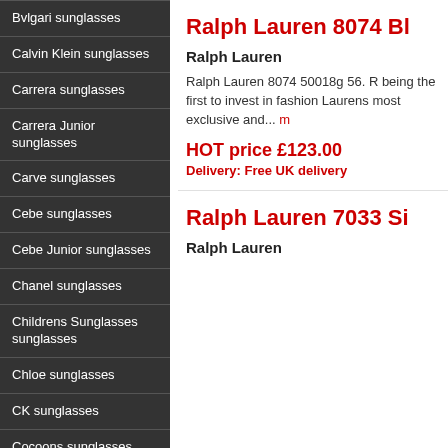Bvlgari sunglasses
Calvin Klein sunglasses
Carrera sunglasses
Carrera Junior sunglasses
Carve sunglasses
Cebe sunglasses
Cebe Junior sunglasses
Chanel sunglasses
Childrens Sunglasses sunglasses
Chloe sunglasses
CK sunglasses
Cocoons sunglasses
Cutler and Gross sunglasses
Ralph Lauren 8074 Bl
Ralph Lauren
Ralph Lauren 8074 50018g 56. R being the first to invest in fashion Laurens most exclusive and... m
HOT price £123.00
Delivery: Free UK delivery
Ralph Lauren 7033 Si
Ralph Lauren